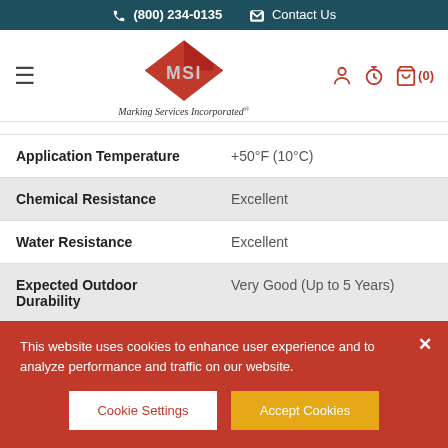(800) 234-0135   Contact Us
[Figure (logo): MSI Marking Services Incorporated logo with red diamond shape and chrome text]
| Property | Value |
| --- | --- |
| Application Temperature | +50°F (10°C) |
| Chemical Resistance | Excellent |
| Water Resistance | Excellent |
| Expected Outdoor Durability | Very Good (Up to 5 Years) |
| Storage Durability | Up to 2 Years |
This website uses cookies to enhance user experience and to analyze performance and traffic on our website.